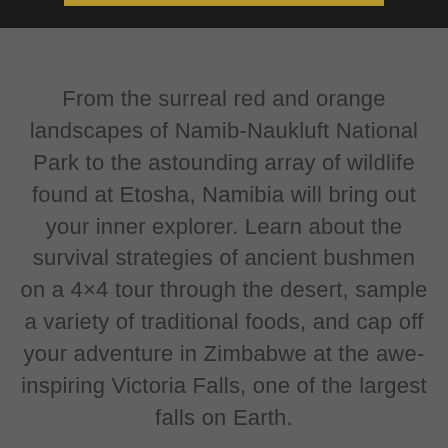From the surreal red and orange landscapes of Namib-Naukluft National Park to the astounding array of wildlife found at Etosha, Namibia will bring out your inner explorer. Learn about the survival strategies of ancient bushmen on a 4×4 tour through the desert, sample a variety of traditional foods, and cap off your adventure in Zimbabwe at the awe-inspiring Victoria Falls, one of the largest falls on Earth.